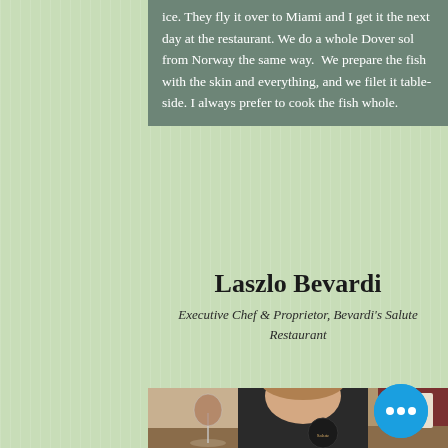ice. They fly it over to Miami and I get it the next day at the restaurant. We do a whole Dover sol from Norway the same way.  We prepare the fish with the skin and everything, and we filet it table-side. I always prefer to cook the fish whole.
Laszlo Bevardi
Executive Chef & Proprietor, Bevardi's Salute Restaurant
[Figure (photo): Photo of Laszlo Bevardi, a smiling man in a dark chef's jacket with a restaurant logo, seated at a table with wine glasses in front of him. Restaurant interior visible in background.]